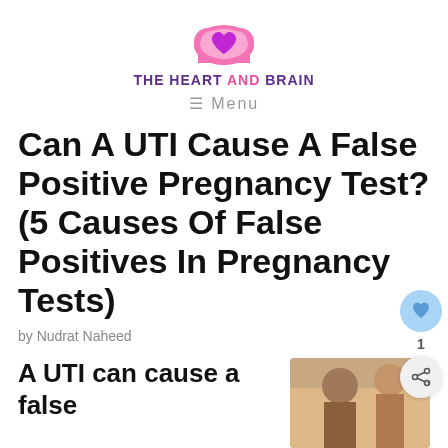[Figure (logo): The Heart And Brain logo — pink cloud with heart inside, purple and pink text]
≡ Menu
Can A UTI Cause A False Positive Pregnancy Test? (5 Causes Of False Positives In Pregnancy Tests)
by Nudrat Naheed
A UTI can cause a false
[Figure (photo): Partial photo of two people, likely in a medical or home setting]